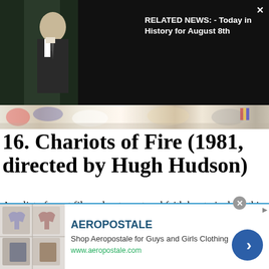[Figure (screenshot): Video overlay with dark background showing a person in suit, with Related News text overlay]
RELATED NEWS: - Today in History for August 8th
[Figure (photo): Banner image strip showing crowd scene in color]
16. Chariots of Fire (1981, directed by Hugh Hudson)
Any list of great films about sport and faith has to include this film at some point. It opens in 1919 when Harold Abrahams arrives at Cambridge. Abraham devotes himself to becoming what the antisemitic staff doesn't believe he can be: an Olympian. Meanwhile, Eric Liddell wonders if he must choose between two callings: his passion for running and his passion
[Figure (advertisement): Aeropostale advertisement banner with clothing images, brand name, shop description and URL]